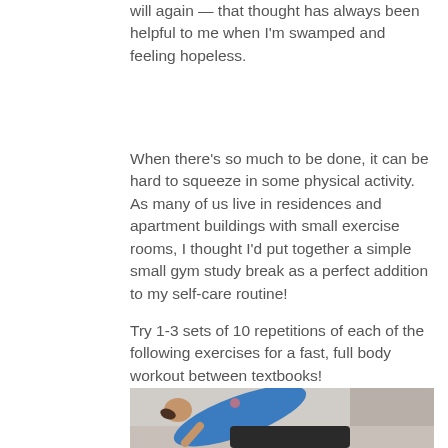will again — that thought has always been helpful to me when I'm swamped and feeling hopeless.
When there's so much to be done, it can be hard to squeeze in some physical activity. As many of us live in residences and apartment buildings with small exercise rooms, I thought I'd put together a simple small gym study break as a perfect addition to my self-care routine!
Try 1-3 sets of 10 repetitions of each of the following exercises for a fast, full body workout between textbooks!
[Figure (photo): A person in a blue tank top performing a push-up or incline exercise near a couch or piece of furniture, photographed from behind/side angle.]